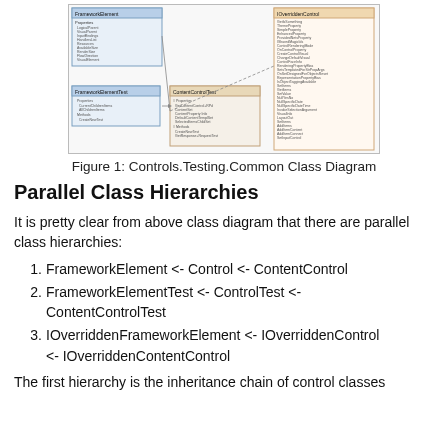[Figure (engineering-diagram): Controls.Testing.Common class diagram showing class hierarchies including FrameworkElement, Control, ContentControl and their test counterparts, displayed in a bordered box]
Figure 1: Controls.Testing.Common Class Diagram
Parallel Class Hierarchies
It is pretty clear from above class diagram that there are parallel class hierarchies:
FrameworkElement <- Control <- ContentControl
FrameworkElementTest <- ControlTest <- ContentControlTest
IOverriddenFrameworkElement <- IOverriddenControl <- IOverriddenContentControl
The first hierarchy is the inheritance chain of control classes